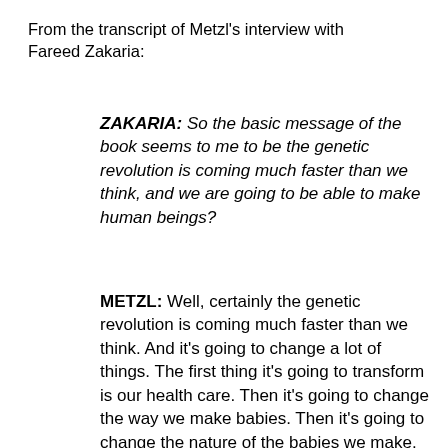From the transcript of Metzl's interview with Fareed Zakaria:
ZAKARIA: So the basic message of the book seems to me to be the genetic revolution is coming much faster than we think, and we are going to be able to make human beings?
METZL: Well, certainly the genetic revolution is coming much faster than we think. And it's going to change a lot of things. The first thing it's going to transform is our health care. Then it's going to change the way we make babies. Then it's going to change the nature of the babies we make. And over time, it's going to alter our